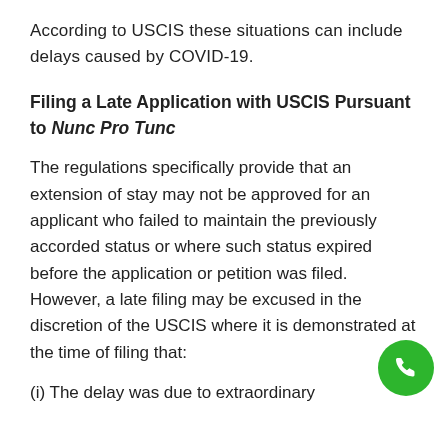According to USCIS these situations can include delays caused by COVID-19.
Filing a Late Application with USCIS Pursuant to Nunc Pro Tunc
The regulations specifically provide that an extension of stay may not be approved for an applicant who failed to maintain the previously accorded status or where such status expired before the application or petition was filed. However, a late filing may be excused in the discretion of the USCIS where it is demonstrated at the time of filing that:
(i) The delay was due to extraordinary